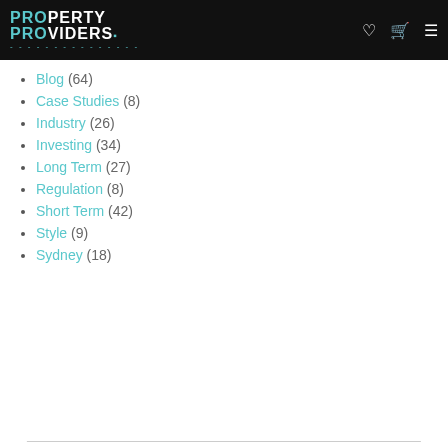[Figure (logo): Property Providers logo with teal and white text on black background, with heart, cart, and menu icons]
Blog (64)
Case Studies (8)
Industry (26)
Investing (34)
Long Term (27)
Regulation (8)
Short Term (42)
Style (9)
Sydney (18)